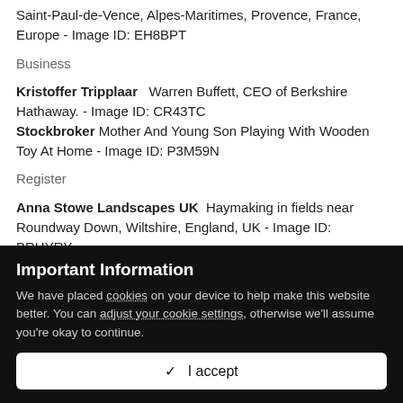Saint-Paul-de-Vence, Alpes-Maritimes, Provence, France, Europe - Image ID: EH8BPT
Business
Kristoffer Tripplaar   Warren Buffett, CEO of Berkshire Hathaway. - Image ID: CR43TC
Stockbroker Mother And Young Son Playing With Wooden Toy At Home - Image ID: P3M59N
Register
Anna Stowe Landscapes UK  Haymaking in fields near Roundway Down, Wiltshire, England, UK - Image ID: BRHYRY
Important Information
We have placed cookies on your device to help make this website better. You can adjust your cookie settings, otherwise we'll assume you're okay to continue.
✓  I accept